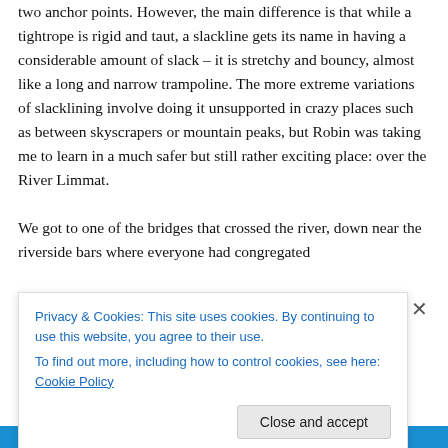two anchor points. However, the main difference is that while a tightrope is rigid and taut, a slackline gets its name in having a considerable amount of slack – it is stretchy and bouncy, almost like a long and narrow trampoline. The more extreme variations of slacklining involve doing it unsupported in crazy places such as between skyscrapers or mountain peaks, but Robin was taking me to learn in a much safer but still rather exciting place: over the River Limmat.
We got to one of the bridges that crossed the river, down near the riverside bars where everyone had congregated
Privacy & Cookies: This site uses cookies. By continuing to use this website, you agree to their use.
To find out more, including how to control cookies, see here: Cookie Policy